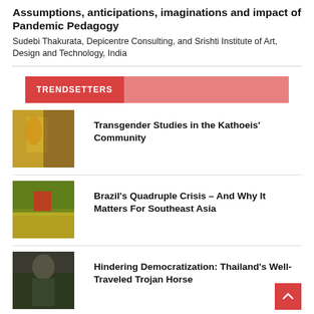Assumptions, anticipations, imaginations and impact of Pandemic Pedagogy
Sudebi Thakurata, Depicentre Consulting, and Srishti Institute of Art, Design and Technology, India
TRENDSETTERS
[Figure (photo): Photo of a person in yellow dress, trendsetters article image]
Transgender Studies in the Kathoeis' Community
[Figure (photo): Photo of a rural/outdoor scene, Brazil article image]
Brazil's Quadruple Crisis – And Why It Matters For Southeast Asia
[Figure (photo): Photo of a person in military attire, Thailand article image]
Hindering Democratization: Thailand's Well-Traveled Trojan Horse